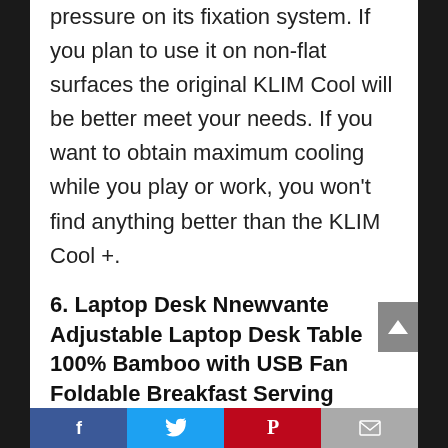pressure on its fixation system. If you plan to use it on non-flat surfaces the original KLIM Cool will be better meet your needs. If you want to obtain maximum cooling while you play or work, you won't find anything better than the KLIM Cool +.
6. Laptop Desk Nnewvante Adjustable Laptop Desk Table 100% Bamboo with USB Fan Foldable Breakfast Serving Bed Tray w' Drawer